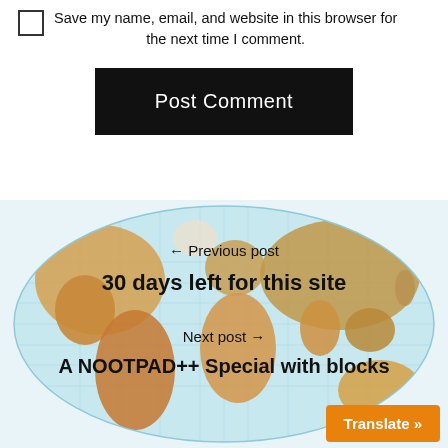Save my name, email, and website in this browser for the next time I comment.
Post Comment
[Figure (map): World map in oval/elliptical projection showing continents with colorful political shading. Overlaid with navigation text: Previous post / 30 days left for this site / Next post / A NOOTPAD++ Special with blocks. Also has a Translate button in bottom right corner.]
← Previous post
30 days left for this site
Next post →
A NOOTPAD++ Special with blocks
Translate »